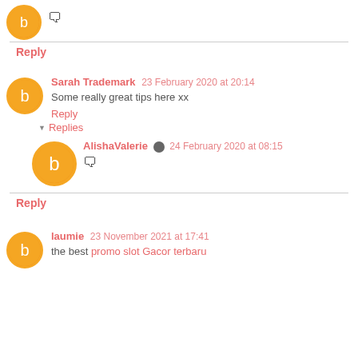🗨
Reply
Sarah Trademark 23 February 2020 at 20:14
Some really great tips here xx
Reply
Replies
AlishaValerie 24 February 2020 at 08:15
🗨
Reply
laumie 23 November 2021 at 17:41
the best promo slot Gacor terbaru